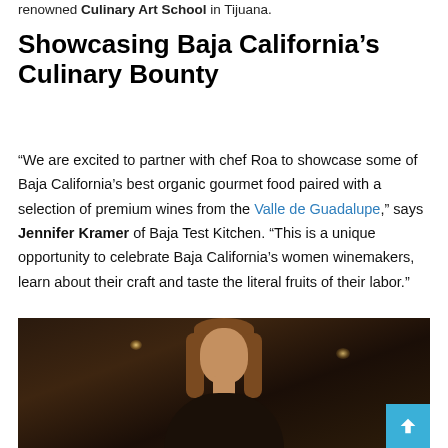renowned Culinary Art School in Tijuana.
Showcasing Baja California's Culinary Bounty
“We are excited to partner with chef Roa to showcase some of Baja California’s best organic gourmet food paired with a selection of premium wines from the Valle de Guadalupe,” says Jennifer Kramer of Baja Test Kitchen. “This is a unique opportunity to celebrate Baja California’s women winemakers, learn about their craft and taste the literal fruits of their labor.”
[Figure (photo): Portrait photo of a woman with bangs and round glasses, with long reddish-brown hair, photographed in a dark rustic interior setting with warm bokeh lights in the background.]